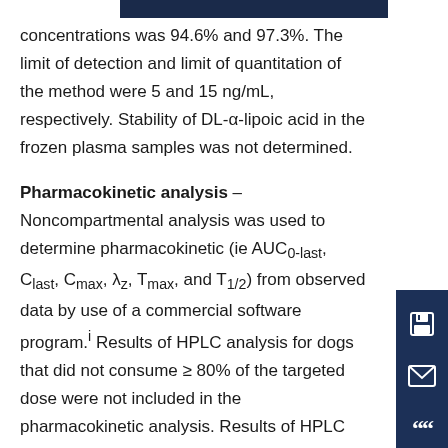concentrations was 94.6% and 97.3%. The limit of detection and limit of quantitation of the method were 5 and 15 ng/mL, respectively. Stability of DL-α-lipoic acid in the frozen plasma samples was not determined.
Pharmacokinetic analysis – Noncompartmental analysis was used to determine pharmacokinetic (ie AUC0-last, Clast, Cmax, λz, Tmax, and T1/2) from observed data by use of a commercial software program.i Results of HPLC analysis for dogs that did not consume ≥ 80% of the targeted dose were not included in the pharmacokinetic analysis. Results of HPLC analysis that were < 30.1 ng/mL were included in the noncompartmental model as 0 ng/mL because the reported result was less than the level of